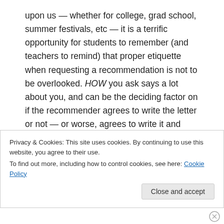upon us — whether for college, grad school, summer festivals, etc — it is a terrific opportunity for students to remember (and teachers to remind) that proper etiquette when requesting a recommendation is not to be overlooked. HOW you ask says a lot about you, and can be the deciding factor on if the recommender agrees to write the letter or not — or worse, agrees to write it and forgets by accident or otherwise!! Now that seemingly everything is done through a web portal, it couldn't be easier for students to get this right. So as the season for giving recommendations approaches — think CASE...
Privacy & Cookies: This site uses cookies. By continuing to use this website, you agree to their use.
To find out more, including how to control cookies, see here: Cookie Policy